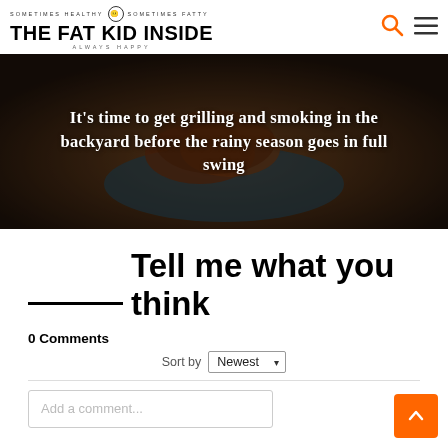SOMETIMES HEALTHY • SOMETIMES FATTY
THE FAT KID INSIDE
ALWAYS HAPPY
[Figure (photo): Dark moody photo of grilled meat skewers on a blue plate on a woven mat background, with white bold text overlay: It's time to get grilling and smoking in the backyard before the rainy season goes in full swing]
Tell me what you think
0 Comments
Sort by Newest
Add a comment...